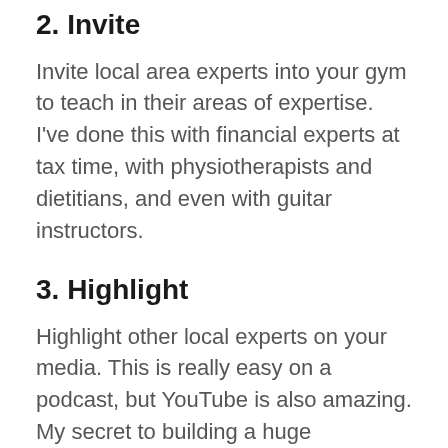2. Invite
Invite local area experts into your gym to teach in their areas of expertise. I've done this with financial experts at tax time, with physiotherapists and dietitians, and even with guitar instructors.
3. Highlight
Highlight other local experts on your media. This is really easy on a podcast, but YouTube is also amazing. My secret to building a huge community is to find the experts within and put them on my platform.
4. Tell